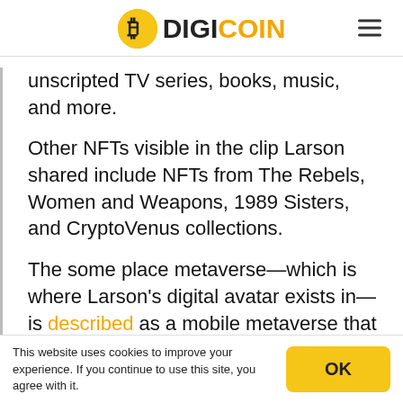DIGICOIN
unscripted TV series, books, music, and more.
Other NFTs visible in the clip Larson shared include NFTs from The Rebels, Women and Weapons, 1989 Sisters, and CryptoVenus collections.
The some place metaverse—which is where Larson’s digital avatar exists in—is described as a mobile metaverse that is “founded by women entrepreneurs,” and that “insists on breaking
This website uses cookies to improve your experience. If you continue to use this site, you agree with it.